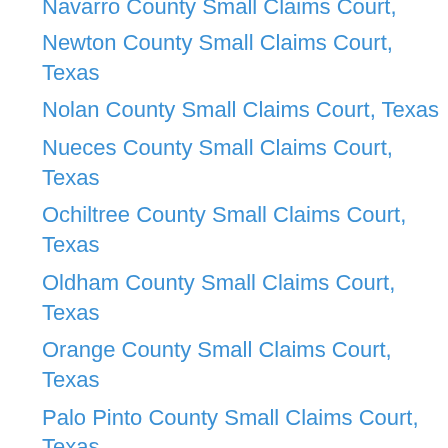Navarro County Small Claims Court, Texas
Newton County Small Claims Court, Texas
Nolan County Small Claims Court, Texas
Nueces County Small Claims Court, Texas
Ochiltree County Small Claims Court, Texas
Oldham County Small Claims Court, Texas
Orange County Small Claims Court, Texas
Palo Pinto County Small Claims Court, Texas
Panola County Small Claims Court, Texas
Parker County Small Claims Court, Texas
Parmer County Small Claims Court, Texas
Pecos County Small Claims Court, Texas
Polk County Small Claims Court, Texas
Potter County Small Claims Court, Texas